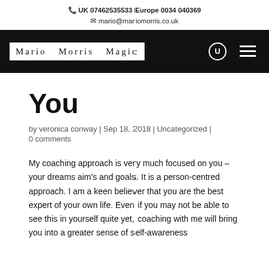UK 07462535533 Europe 0034 040369
mario@mariomorris.co.uk
[Figure (logo): Mario Morris Magic logo — white text on dark background inside a white box on a black navigation bar, with search and menu icons on the right]
You
by veronica conway | Sep 18, 2018 | Uncategorized | 0 comments
My coaching approach is very much focused on you – your dreams aim's and goals. It is a person-centred approach. I am a keen believer that you are the best expert of your own life. Even if you may not be able to see this in yourself quite yet, coaching with me will bring you into a greater sense of self-awareness